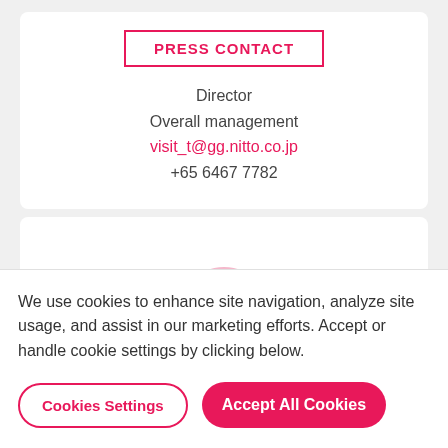PRESS CONTACT
Director
Overall management
visit_t@gg.nitto.co.jp
+65 6467 7782
[Figure (illustration): Partially visible avatar/profile image semicircle in pink at the top of a second card]
We use cookies to enhance site navigation, analyze site usage, and assist in our marketing efforts. Accept or handle cookie settings by clicking below.
Cookies Settings
Accept All Cookies